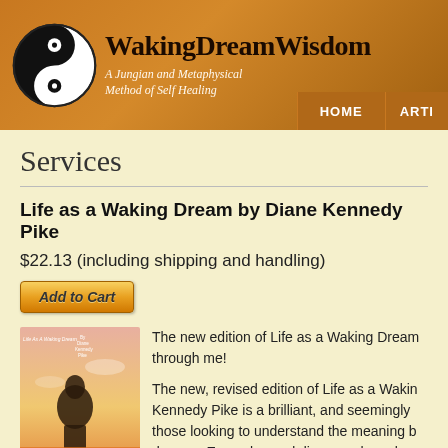[Figure (logo): Waking Dream Wisdom website header with yin-yang logo, site title, subtitle 'A Jungian and Metaphysical Method of Self Healing', and navigation buttons HOME and ARTI...]
Services
Life as a Waking Dream by Diane Kennedy Pike
$22.13 (including shipping and handling)
[Figure (other): Add to Cart button]
[Figure (photo): Book cover: Life As A Waking Dream by Diane Kennedy Pike]
The new edition of Life as a Waking Dream through me!
The new, revised edition of Life as a Waking Kennedy Pike is a brilliant, and seemingly those looking to understand the meaning b dreams. Examples and diagrams have bee to illustrate the different of t